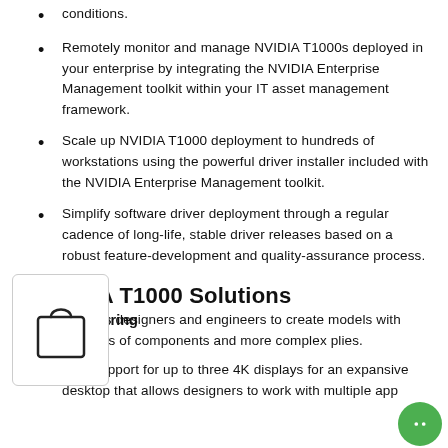conditions.
Remotely monitor and manage NVIDIA T1000s deployed in your enterprise by integrating the NVIDIA Enterprise Management toolkit within your IT asset management framework.
Scale up NVIDIA T1000 deployment to hundreds of workstations using the powerful driver installer included with the NVIDIA Enterprise Management toolkit.
Simplify software driver deployment through a regular cadence of long-life, stable driver releases based on a robust feature-development and quality-assurance process.
NVIDIA T1000 Solutions
Manufacturing
Enables designers and engineers to create models with numbers of components and more complex [plies].
support for up to three 4K displays for an expansive desktop that allows designers to work with multiple app[lications].
[Figure (illustration): Shopping bag icon inside a rounded rectangle overlay box]
[Figure (illustration): Green circular chat/support button in bottom right corner]